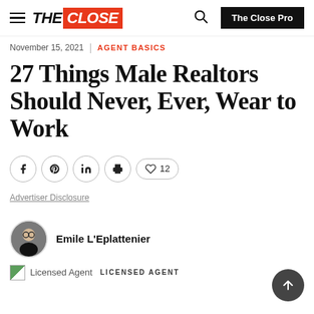THE CLOSE | The Close Pro
November 15, 2021 | AGENT BASICS
27 Things Male Realtors Should Never, Ever, Wear to Work
[Figure (infographic): Social sharing buttons: Facebook, Pinterest, LinkedIn, Print, and a heart/like button showing 12 likes]
Advertiser Disclosure
Emile L'Eplattenier
Licensed Agent  LICENSED AGENT